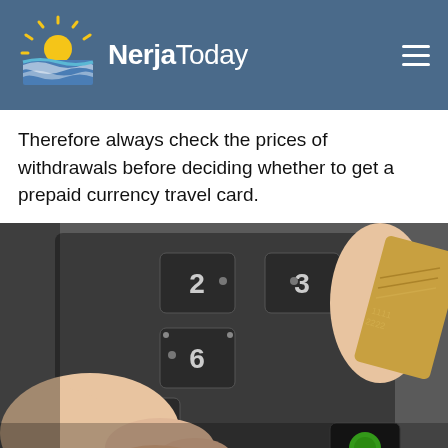NerjaToday
Therefore always check the prices of withdrawals before deciding whether to get a prepaid currency travel card.
[Figure (photo): Close-up photograph of a hand pressing keys on an ATM or payment terminal keypad, with a gold credit/prepaid card visible in the upper right corner. The keypad shows numeric keys including 2, 3, 6, 9 and a green button visible at bottom right.]